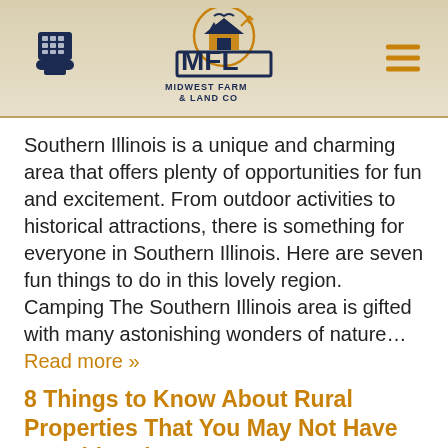MFL Midwest Farm & Land Co
Southern Illinois is a unique and charming area that offers plenty of opportunities for fun and excitement. From outdoor activities to historical attractions, there is something for everyone in Southern Illinois. Here are seven fun things to do in this lovely region. Camping The Southern Illinois area is gifted with many astonishing wonders of nature... Read more »
8 Things to Know About Rural Properties That You May Not Have Considered
[Figure (photo): Sky with clouds, bottom image of rural landscape article]